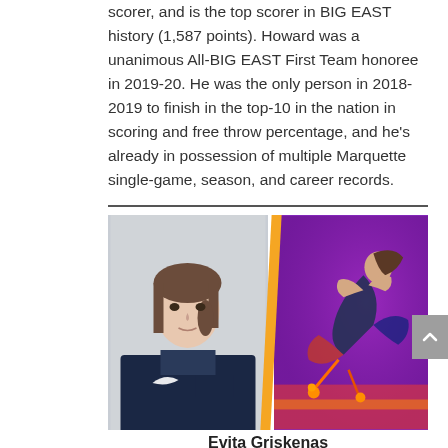scorer, and is the top scorer in BIG EAST history (1,587 points). Howard was a unanimous All-BIG EAST First Team honoree in 2019-20. He was the only person in 2018-2019 to finish in the top-10 in the nation in scoring and free throw percentage, and he's already in possession of multiple Marquette single-game, season, and career records.
[Figure (photo): Two-panel photo of Evita Griskenas: left panel shows a portrait of a young woman in a Team USA Nike jacket; right panel shows an action shot of a rhythmic gymnast performing in a purple-lit arena.]
Evita Griskenas